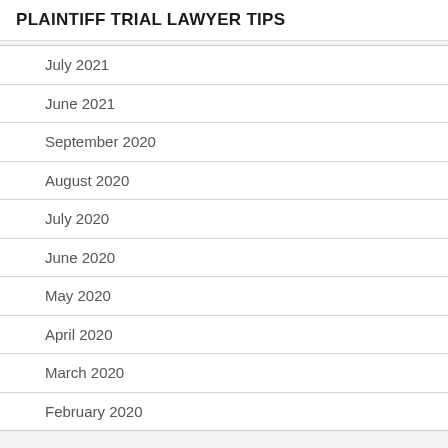PLAINTIFF TRIAL LAWYER TIPS
July 2021
June 2021
September 2020
August 2020
July 2020
June 2020
May 2020
April 2020
March 2020
February 2020